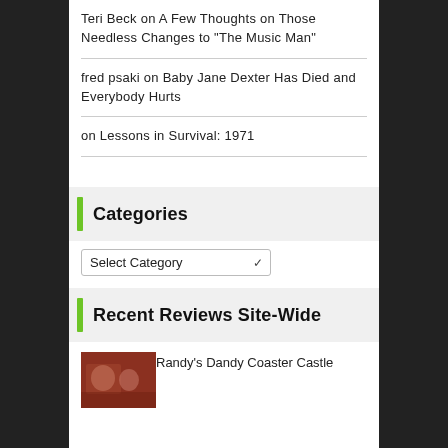Teri Beck on A Few Thoughts on Those Needless Changes to “The Music Man”
fred psaki on Baby Jane Dexter Has Died and Everybody Hurts
on Lessons in Survival: 1971
Categories
Select Category
Recent Reviews Site-Wide
Randy’s Dandy Coaster Castle